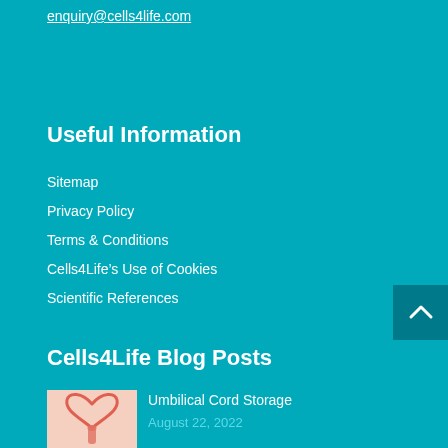enquiry@cells4life.com
Useful Information
Sitemap
Privacy Policy
Terms & Conditions
Cells4Life’s Use of Cookies
Scientific References
Cells4Life Blog Posts
[Figure (illustration): Heart illustration made of a red/coral outline on a light pink/peach background, with a finger pointing upward]
Umbilical Cord Storage
August 22, 2022